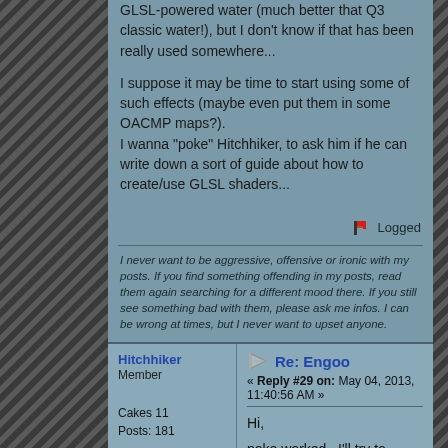GLSL-powered water (much better that Q3 classic water!), but I don't know if that has been really used somewhere...
I suppose it may be time to start using some of such effects (maybe even put them in some OACMP maps?).
I wanna "poke" Hitchhiker, to ask him if he can write down a sort of guide about how to create/use GLSL shaders...
Logged
I never want to be aggressive, offensive or ironic with my posts. If you find something offending in my posts, read them again searching for a different mood there. If you still see something bad with them, please ask me infos. I can be wrong at times, but I never want to upset anyone.
Hitchhiker
Member
Cakes 11
Posts: 181
Re: Engoo
« Reply #29 on: May 04, 2013, 11:40:56 AM »
Hi,
poke worked.. I'll try to prepare a short tutorial on how to make glsl shaders and eventually will be available for questions and assistance to whoever tries to make or implement them - as much as I can.